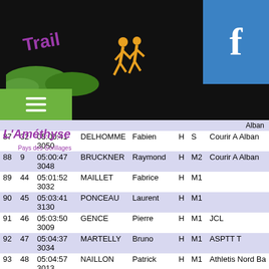[Figure (logo): Trail L'Améthyste logo with purple text and green hills on black background, with orange runners silhouette and Facebook button]
| # | Cat# | Time | Name | First | Sex | Cat | Club |
| --- | --- | --- | --- | --- | --- | --- | --- |
| 87 | 32 | 05:00:41 | 3050 | DELHOMME | Fabien | H | S | Courir A Alban |
| 88 | 9 | 05:00:47 | 3048 | BRUCKNER | Raymond | H | M2 | Courir A Alban |
| 89 | 44 | 05:01:52 | 3032 | MAILLET | Fabrice | H | M1 |  |
| 90 | 45 | 05:03:41 | 3130 | PONCEAU | Laurent | H | M1 |  |
| 91 | 46 | 05:03:50 | 3009 | GENCE | Pierre | H | M1 | JCL |
| 92 | 47 | 05:04:37 | 3034 | MARTELLY | Bruno | H | M1 | ASPTT T |
| 93 | 48 | 05:04:57 | 3013 | NAILLON | Patrick | H | M1 | Athletis Nord Ba |
| 94 | 3 | 05:05:52 | 3108 | COHADE | Marie-Laure | F | M1 | Chateau Racers |
| 95 | 10 | 05:06:48 | 3044 | NEBINGER | Christophe | H | M2 | Monistr Loire |
| 96 | 11 | 05:06:53 | 3042 | MARTIN | Denis | H | M2 | Monistr Loire |